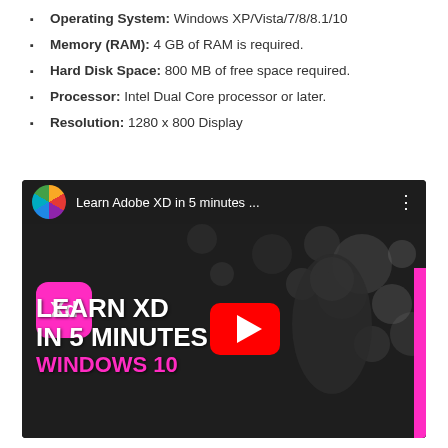Operating System: Windows XP/Vista/7/8/8.1/10
Memory (RAM): 4 GB of RAM is required.
Hard Disk Space: 800 MB of free space required.
Processor: Intel Dual Core processor or later.
Resolution: 1280 x 800 Display
[Figure (screenshot): YouTube video thumbnail for 'Learn Adobe XD in 5 minutes...' showing Adobe XD logo, YouTube play button, text 'LEARN XD IN 5 MINUTES WINDOWS 10' on dark bokeh background]